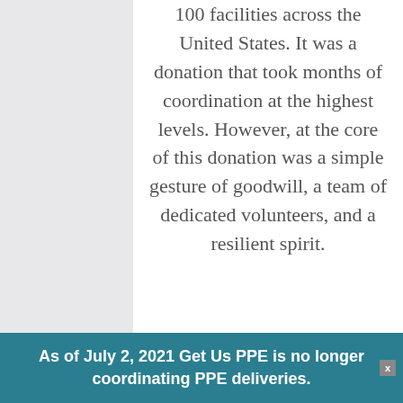100 facilities across the United States. It was a donation that took months of coordination at the highest levels. However, at the core of this donation was a simple gesture of goodwill, a team of dedicated volunteers, and a resilient spirit.
As of July 2, 2021 Get Us PPE is no longer coordinating PPE deliveries.